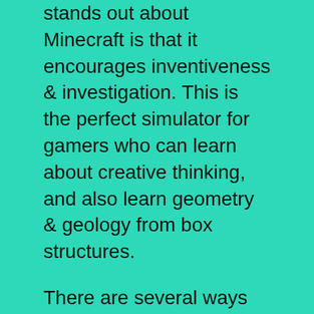stands out about Minecraft is that it encourages inventiveness & investigation. This is the perfect simulator for gamers who can learn about creative thinking, and also learn geometry & geology from box structures.
There are several ways you can download and install Minecraft on your PC. It is a multi-platform based game meaning it works on different operating systems, of course, depending on the platform configuration. After downloading the installer, the installation wizard will walk the player through the process. When that is done, when you start the launcher for the first time, important game files to downloaded automatically. Finally, the player will log into their Minecraft account to start playing the game.
However, Minecraft allows players to interact with a world formed from limitless Lego-style blocks. The most